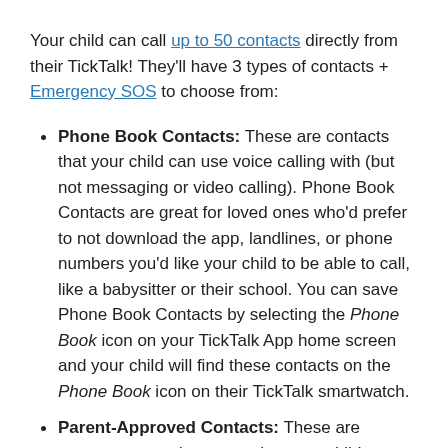Your child can call up to 50 contacts directly from their TickTalk! They'll have 3 types of contacts + Emergency SOS to choose from:
Phone Book Contacts: These are contacts that your child can use voice calling with (but not messaging or video calling). Phone Book Contacts are great for loved ones who'd prefer to not download the app, landlines, or phone numbers you'd like your child to be able to call, like a babysitter or their school. You can save Phone Book Contacts by selecting the Phone Book icon on your TickTalk App home screen and your child will find these contacts on the Phone Book icon on their TickTalk smartwatch.
Parent-Approved Contacts: These are parent-approved contacts that your child can call, message, and video call who have downloaded the TickTalk App and requested permission to add your child. To speak with these contacts, your child needs the TickTalk...